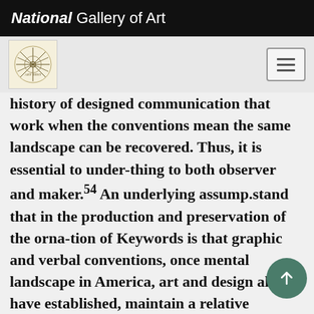National Gallery of Art
history of designed communication that work when the conventions mean the same landscape can be recovered. Thus, it is essential to under-thing to both observer and maker.54 An underlying assump.stand that in the production and preservation of the orna-tion of Keywords is that graphic and verbal conventions, once mental landscape in America, art and design always have established, maintain a relative consistency through time suf.been, and continue to be, interdependent. To paraphrase ficient enough so that through their study we may bett James Ackerman, an image that is used to repr an exist-understand the historical objects or